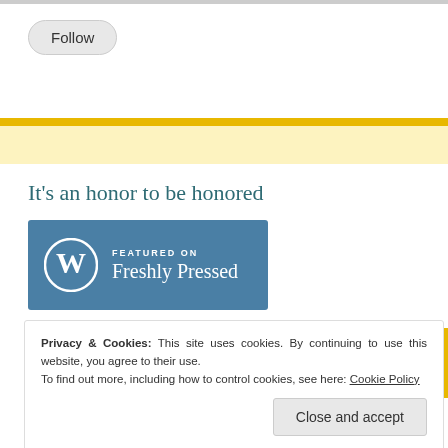[Figure (other): Follow button - rounded rectangle button with text 'Follow']
It’s an honor to be honored
[Figure (other): WordPress Freshly Pressed badge - blue button with WordPress logo and text 'FEATURED ON Freshly Pressed']
Privacy & Cookies: This site uses cookies. By continuing to use this website, you agree to their use.
To find out more, including how to control cookies, see here: Cookie Policy
Close and accept